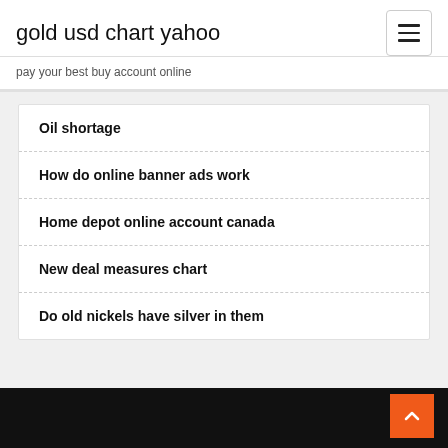gold usd chart yahoo
pay your best buy account online
Oil shortage
How do online banner ads work
Home depot online account canada
New deal measures chart
Do old nickels have silver in them